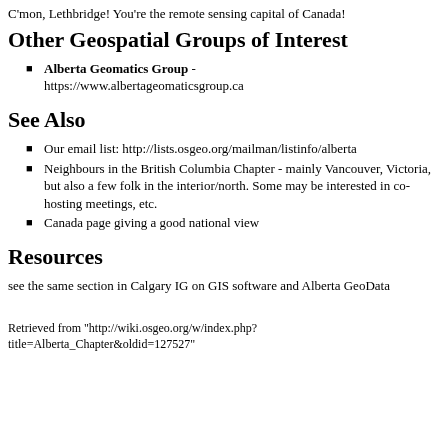C'mon, Lethbridge! You're the remote sensing capital of Canada!
Other Geospatial Groups of Interest
Alberta Geomatics Group - https://www.albertageomaticsgroup.ca
See Also
Our email list: http://lists.osgeo.org/mailman/listinfo/alberta
Neighbours in the British Columbia Chapter - mainly Vancouver, Victoria, but also a few folk in the interior/north. Some may be interested in co-hosting meetings, etc.
Canada page giving a good national view
Resources
see the same section in Calgary IG on GIS software and Alberta GeoData
Retrieved from "http://wiki.osgeo.org/w/index.php?title=Alberta_Chapter&oldid=127527"